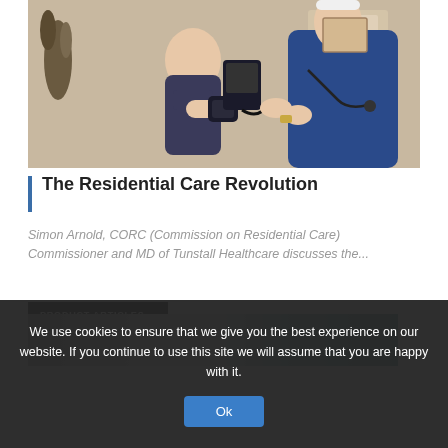[Figure (photo): A nurse in a blue uniform taking blood pressure of an elderly seated male patient using a blood pressure cuff device]
The Residential Care Revolution
Simon Arnold, CORC (Commission on Residential Care) Commissioner and MD of Tunstall Healthcare discusses the...
PRODUCT ARTICLES
[Figure (photo): Partial product image showing a metallic/teal healthcare product]
We use cookies to ensure that we give you the best experience on our website. If you continue to use this site we will assume that you are happy with it.